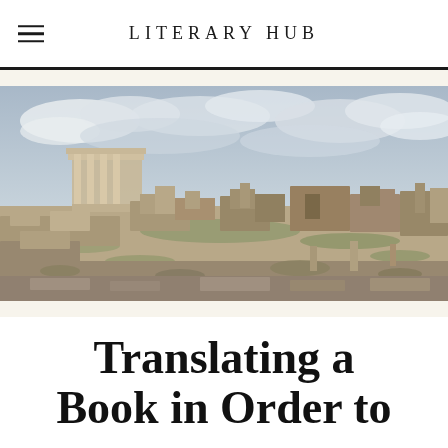LITERARY HUB
[Figure (photo): Wide panoramic photograph of ancient Roman ruins under a cloudy sky. Stone structures, columns, and rubble spread across a landscape with patches of green grass. A small classical temple with columns is visible on the left side.]
Translating a Book in Order to